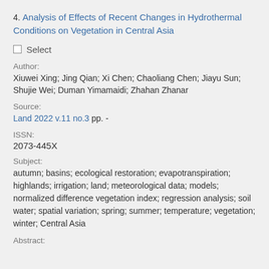4. Analysis of Effects of Recent Changes in Hydrothermal Conditions on Vegetation in Central Asia
☐ Select
Author:
Xiuwei Xing; Jing Qian; Xi Chen; Chaoliang Chen; Jiayu Sun; Shujie Wei; Duman Yimamaidi; Zhahan Zhanar
Source:
Land 2022 v.11 no.3 pp. -
ISSN:
2073-445X
Subject:
autumn; basins; ecological restoration; evapotranspiration; highlands; irrigation; land; meteorological data; models; normalized difference vegetation index; regression analysis; soil water; spatial variation; spring; summer; temperature; vegetation; winter; Central Asia
Abstract: